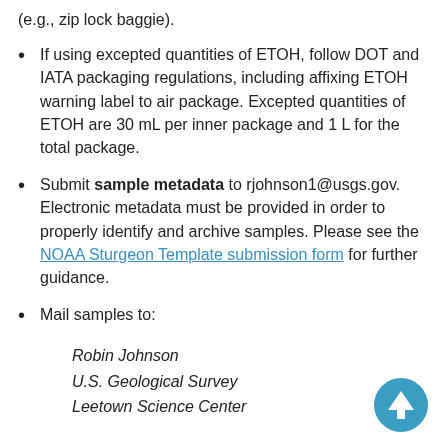(e.g., zip lock baggie).
If using excepted quantities of ETOH, follow DOT and IATA packaging regulations, including affixing ETOH warning label to air package. Excepted quantities of ETOH are 30 mL per inner package and 1 L for the total package.
Submit sample metadata to rjohnson1@usgs.gov. Electronic metadata must be provided in order to properly identify and archive samples. Please see the NOAA Sturgeon Template submission form for further guidance.
Mail samples to:
Robin Johnson
U.S. Geological Survey
Leetown Science Center